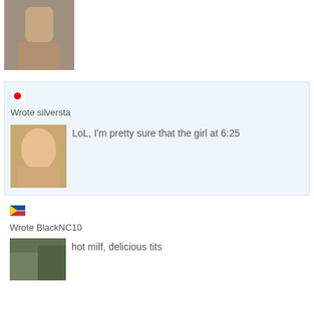[Figure (photo): User avatar thumbnail at top of page]
Wrote silversta
[Figure (photo): User avatar thumbnail for silversta comment]
LoL, I'm pretty sure that the girl at 6:25
[Figure (photo): Flag icon for BlackNC10 user]
Wrote BlackNC10
[Figure (photo): User avatar thumbnail for BlackNC10 comment]
hot milf, delicious tits